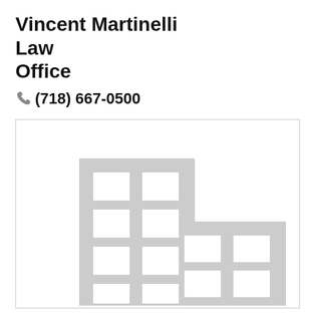Vincent Martinelli Law Office
(718) 667-0500
[Figure (illustration): Generic office building placeholder illustration — grey building with grid windows on white background, inside a bordered box.]